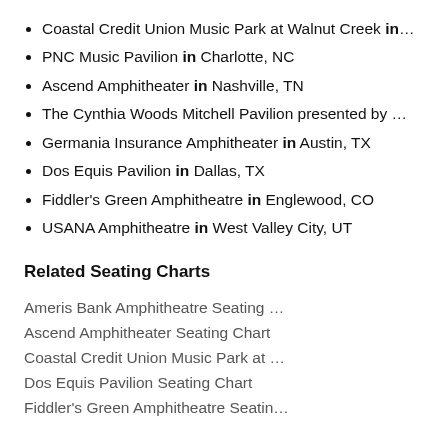Coastal Credit Union Music Park at Walnut Creek in…
PNC Music Pavilion in Charlotte, NC
Ascend Amphitheater in Nashville, TN
The Cynthia Woods Mitchell Pavilion presented by …
Germania Insurance Amphitheater in Austin, TX
Dos Equis Pavilion in Dallas, TX
Fiddler's Green Amphitheatre in Englewood, CO
USANA Amphitheatre in West Valley City, UT
Related Seating Charts
Ameris Bank Amphitheatre Seating …
Ascend Amphitheater Seating Chart
Coastal Credit Union Music Park at …
Dos Equis Pavilion Seating Chart
Fiddler's Green Amphitheatre Seatin…